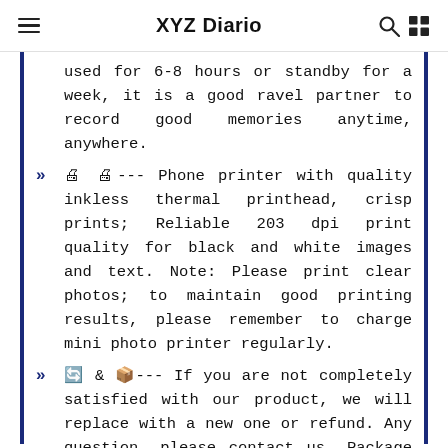XYZ Diario
used for 6-8 hours or standby for a week, it is a good ravel partner to record good memories anytime, anywhere.
🖨 🖨--- Phone printer with quality inkless thermal printhead, crisp prints; Reliable 203 dpi print quality for black and white images and text. Note: Please print clear photos; to maintain good printing results, please remember to charge mini photo printer regularly.
🔄 & 📦--- If you are not completely satisfied with our product, we will replace with a new one or refund. Any question, please contact us. Package includes 1 blue sticker printer and 6 rolls of plain thermal paper, 1 USB cable and 1 user guide.
🔷 🔷--- Support wireless BT 4.0 with phone to connect with iphone printer easily and quickly